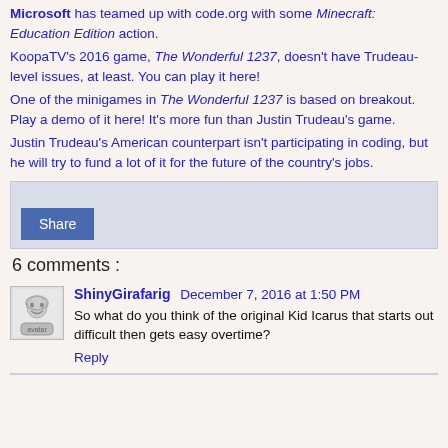Microsoft has teamed up with code.org with some Minecraft: Education Edition action.
KoopaTV's 2016 game, The Wonderful 1237, doesn't have Trudeau-level issues, at least. You can play it here!
One of the minigames in The Wonderful 1237 is based on breakout. Play a demo of it here! It's more fun than Justin Trudeau's game.
Justin Trudeau's American counterpart isn't participating in coding, but he will try to fund a lot of it for the future of the country's jobs.
[Figure (other): Share button widget area with light blue-gray background]
6 comments :
ShinyGirafarig December 7, 2016 at 1:50 PM
So what do you think of the original Kid Icarus that starts out difficult then gets easy overtime?
Reply